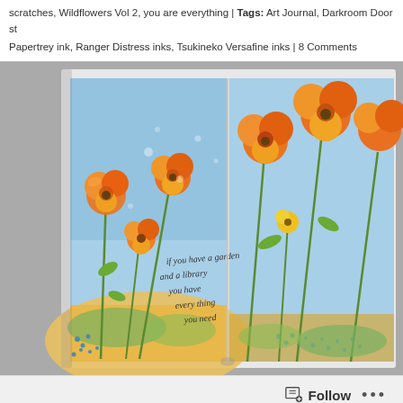scratches, Wildflowers Vol 2, you are everything | Tags: Art Journal, Darkroom Door st
Papertrey ink, Ranger Distress inks, Tsukineko Versafine inks | 8 Comments
[Figure (illustration): Open art journal spread with watercolor painting of orange wildflowers on blue-sky background with handwritten text reading 'if you have a garden and a library you have every thing you need']
Follow ...